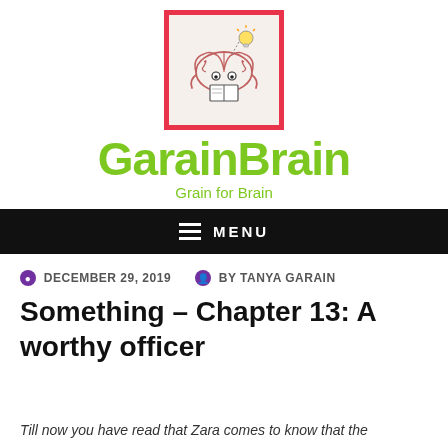[Figure (logo): GarainBrain blog logo: cartoon brain character reading a book with a lightbulb above, inside a red-bordered square]
GarainBrain
Grain for Brain
≡ MENU
DECEMBER 29, 2019  BY TANYA GARAIN
Something – Chapter 13: A worthy officer
Till now you have read that Zara comes to know that the